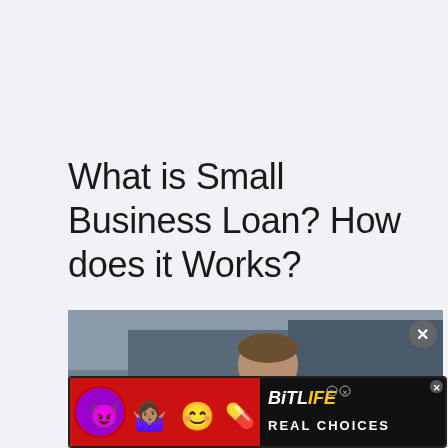What is Small Business Loan? How does it Works?
[Figure (photo): Photo of a person standing in front of a storefront with an OPEN sign, partially obscured by an advertisement overlay and a gray semitransparent banner.]
[Figure (infographic): BitLife advertisement banner with emojis (devil, woman shrugging, smiling angel) and the BitLife logo with tagline REAL CHOICES, plus a close button.]